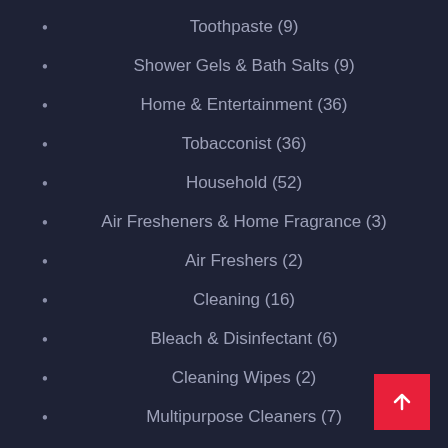Toothpaste (9)
Shower Gels & Bath Salts (9)
Home & Entertainment (36)
Tobacconist (36)
Household (52)
Air Fresheners & Home Fragrance (3)
Air Freshers (2)
Cleaning (16)
Bleach & Disinfectant (6)
Cleaning Wipes (2)
Multipurpose Cleaners (7)
Toilet Cleaner (2)
Dishwashing (5)
Dishwasher Tablets (1)